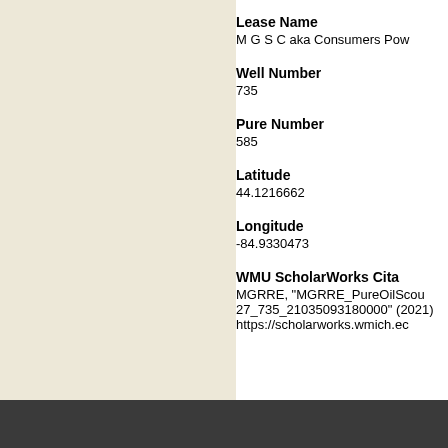[Figure (other): Beige/cream colored left panel background]
Lease Name
M G S C aka Consumers Pow
Well Number
735
Pure Number
585
Latitude
44.1216662
Longitude
-84.9330473
WMU ScholarWorks Cita
MGRRE, "MGRRE_PureOilScou 27_735_21035093180000" (2021) https://scholarworks.wmich.ec
Western Michigan University Lib